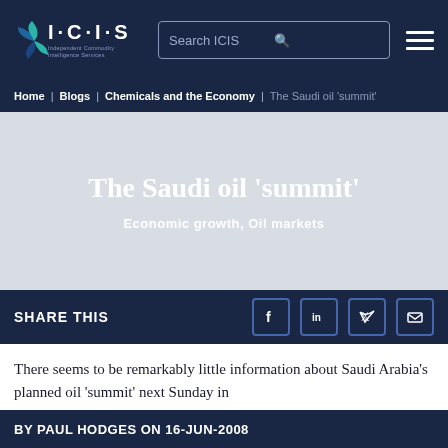ICIS - Independent Commodity Intelligence Services
Home | Blogs | Chemicals and the Economy | The Saudi oil 'summit'
The Saudi oil 'summit'
Economic growth, Oil markets
SHARE THIS
There seems to be remarkably little information about Saudi Arabia's planned oil 'summit' next Sunday in
BY PAUL HODGES ON 16-JUN-2008